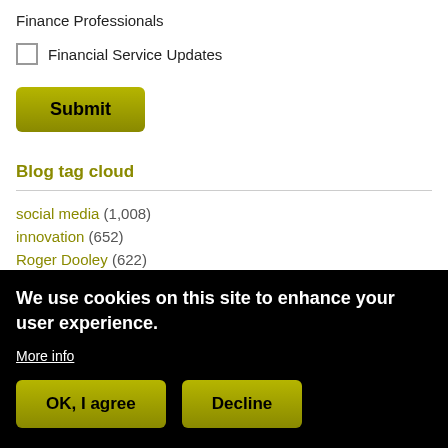Finance Professionals
Financial Service Updates
Submit
Blog tag cloud
social media (1,008)
innovation (652)
Roger Dooley (622)
online (579)
neuromarketing (520)
We use cookies on this site to enhance your user experience.
More info
OK, I agree
Decline